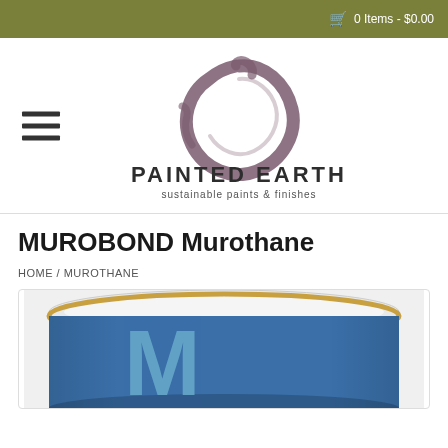0 Items - $0.00
[Figure (logo): Painted Earth logo with circular brushstroke in mauve/purple, text 'PAINTED EARTH sustainable paints & finishes']
MUROBOND Murothane
HOME / MUROTHANE
[Figure (photo): Paint can with blue label showing the letter M, top view showing white paint inside, gold rim visible]